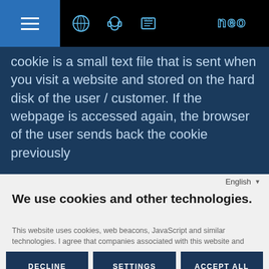NEO website navigation bar with hamburger menu, globe icon, headset icon, news icon, and NEO logo
cookie is a small text file that is sent when you visit a website and stored on the hard disk of the user / customer. If the webpage is accessed again, the browser of the user sends back the cookie previously
English
We use cookies and other technologies.
This website uses cookies, web beacons, JavaScript and similar technologies. I agree that companies associated with this website and third parties create pseudonymized user profiles for website personalization, market research
DECLINE
SETTINGS
ACCEPT ALL
Imprint | Privacy Policy
Powered by CCM19